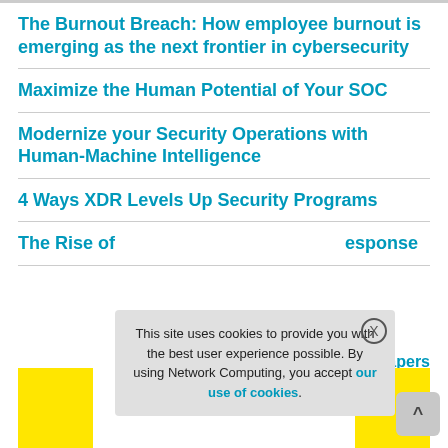The Burnout Breach: How employee burnout is emerging as the next frontier in cybersecurity
Maximize the Human Potential of Your SOC
Modernize your Security Operations with Human-Machine Intelligence
4 Ways XDR Levels Up Security Programs
The Rise of... Response
Whitepapers
This site uses cookies to provide you with the best user experience possible. By using Network Computing, you accept our use of cookies.